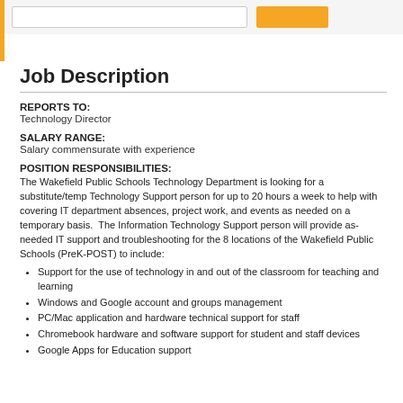[search bar and orange button]
Job Description
REPORTS TO:
Technology Director
SALARY RANGE:
Salary commensurate with experience
POSITION RESPONSIBILITIES:
The Wakefield Public Schools Technology Department is looking for a substitute/temp Technology Support person for up to 20 hours a week to help with covering IT department absences, project work, and events as needed on a temporary basis.  The Information Technology Support person will provide as-needed IT support and troubleshooting for the 8 locations of the Wakefield Public Schools (PreK-POST) to include:
Support for the use of technology in and out of the classroom for teaching and learning
Windows and Google account and groups management
PC/Mac application and hardware technical support for staff
Chromebook hardware and software support for student and staff devices
Google Apps for Education support